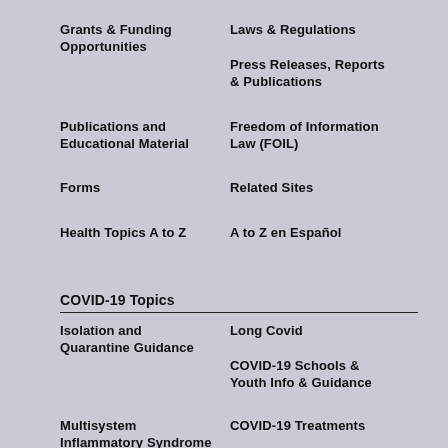Grants & Funding Opportunities
Laws & Regulations
Press Releases, Reports & Publications
Publications and Educational Material
Freedom of Information Law (FOIL)
Forms
Related Sites
Health Topics A to Z
A to Z en Español
COVID-19 Topics
Isolation and Quarantine Guidance
Long Covid
COVID-19 Schools & Youth Info & Guidance
Multisystem Inflammatory Syndrome in Children (MIS-C)
COVID-19 Treatments
COVID-19 Guidance
COVID-19 Excelsior Pass/Excelsior Pass Plus
Pregnancy & COVID-19